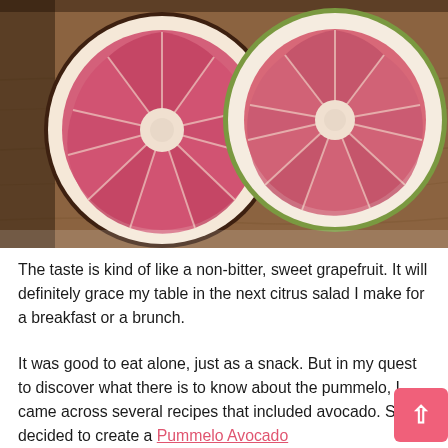[Figure (photo): Two halves of a pummelo (pomelo) fruit cut open, showing pink-red flesh with white pith, placed on a wooden cutting board. Left half is slightly smaller/darker, right half is larger with visible green rind on the outside.]
The taste is kind of like a non-bitter, sweet grapefruit.  It will definitely grace my table in the next citrus salad I make for a breakfast or a brunch.
It was good to eat alone, just as a snack.  But in my quest to discover what there is to know about the pummelo, I came across several recipes that included avocado.  So, I decided to create a Pummelo Avocado Salad... [link continues]